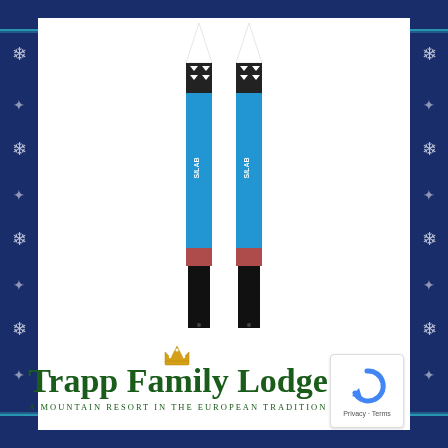[Figure (photo): Two blue cross-country skis (Salomon S/LAB brand) standing upright, shown from front view. Skis are blue with black tips at bottom and white/black graphics at top. S/LAB logo visible on each ski.]
[Figure (logo): Trapp Family Lodge logo with green decorative text, gold crown icon, and tagline 'A Mountain Resort in the European Tradition']
[Figure (other): reCAPTCHA badge with blue circular arrow logo, Privacy and Terms links]